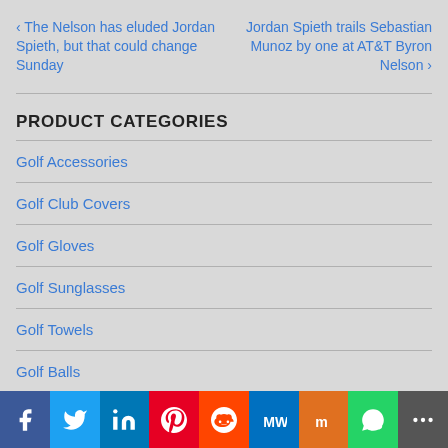‹ The Nelson has eluded Jordan Spieth, but that could change Sunday
Jordan Spieth trails Sebastian Munoz by one at AT&T Byron Nelson ›
PRODUCT CATEGORIES
Golf Accessories
Golf Club Covers
Golf Gloves
Golf Sunglasses
Golf Towels
Golf Balls
Golf Gear